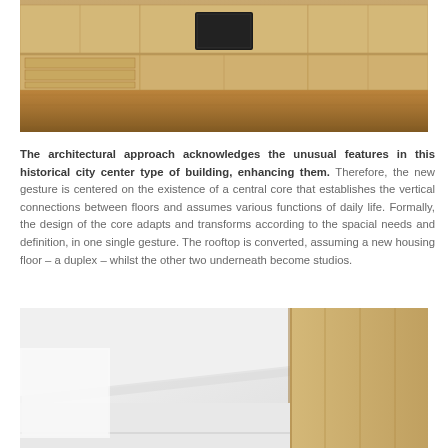[Figure (photo): Interior photo of a modern kitchen with light wood (oak) cabinetry, built-in oven, and hardwood floor]
The architectural approach acknowledges the unusual features in this historical city center type of building, enhancing them. Therefore, the new gesture is centered on the existence of a central core that establishes the vertical connections between floors and assumes various functions of daily life. Formally, the design of the core adapts and transforms according to the spacial needs and definition, in one single gesture. The rooftop is converted, assuming a new housing floor – a duplex – whilst the other two underneath become studios.
[Figure (photo): Interior photo showing a white wall with angled ceiling and light wood panel wall/wardrobe on the right side]